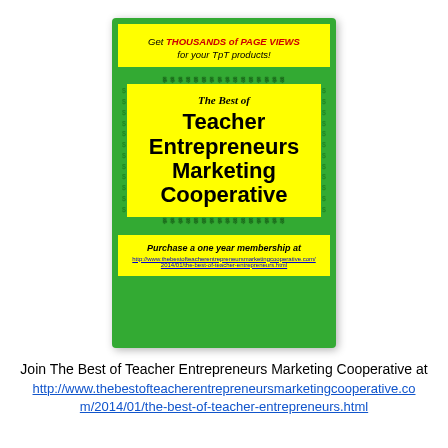[Figure (illustration): Promotional card for The Best of Teacher Entrepreneurs Marketing Cooperative with green border, yellow banner top reading 'Get THOUSANDS of PAGE VIEWS for your TpT products!', central yellow box with dollar sign border reading 'The Best of Teacher Entrepreneurs Marketing Cooperative', and bottom yellow panel with membership purchase URL.]
Join The Best of Teacher Entrepreneurs Marketing Cooperative at http://www.thebestofteacherentrepreneursmarketingcooperative.com/2014/01/the-best-of-teacher-entrepreneurs.html